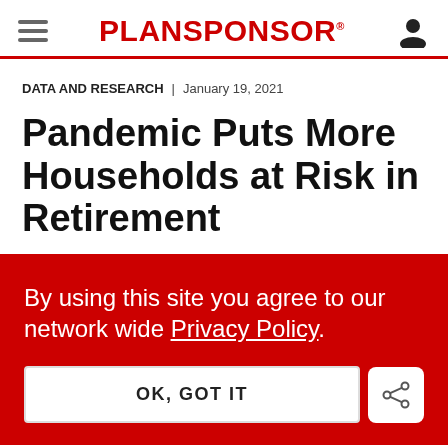PLANSPONSOR
DATA AND RESEARCH | January 19, 2021
Pandemic Puts More Households at Risk in Retirement
By using this site you agree to our network wide Privacy Policy.
OK, GOT IT